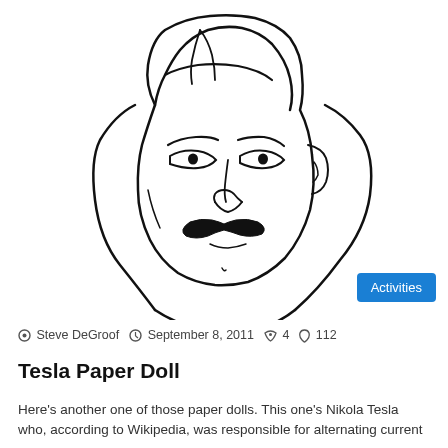[Figure (illustration): Line-art illustration of Nikola Tesla's face and upper shoulders, black ink on white background, showing distinctive mustache, hair parted to the side, and strong facial features. A blue 'Activities' badge is overlaid in the bottom-right corner of the image.]
Steve DeGroof  September 8, 2011  4  112
Tesla Paper Doll
Here's another one of those paper dolls. This one's Nikola Tesla who, according to Wikipedia, was responsible for alternating current